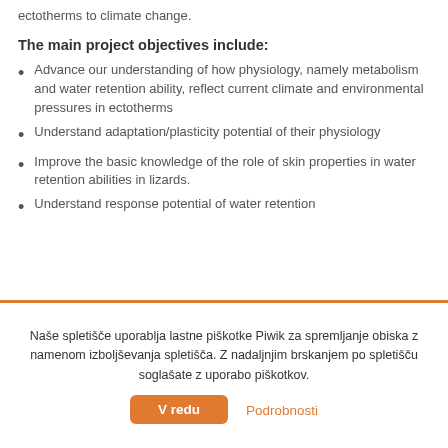ectotherms to climate change.
The main project objectives include:
Advance our understanding of how physiology, namely metabolism and water retention ability, reflect current climate and environmental pressures in ectotherms
Understand adaptation/plasticity potential of their physiology
Improve the basic knowledge of the role of skin properties in water retention abilities in lizards.
Understand response potential of water retention
Naše spletišče uporablja lastne piškotke Piwik za spremljanje obiska z namenom izboljševanja spletišča. Z nadaljnjim brskanjem po spletišču soglašate z uporabo piškotkov.
V redu  Podrobnosti